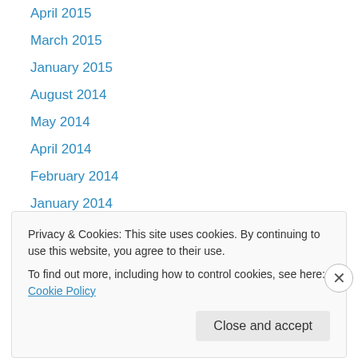April 2015
March 2015
January 2015
August 2014
May 2014
April 2014
February 2014
January 2014
November 2013
October 2013
September 2013
August 2013
July 2013
Privacy & Cookies: This site uses cookies. By continuing to use this website, you agree to their use.
To find out more, including how to control cookies, see here: Cookie Policy